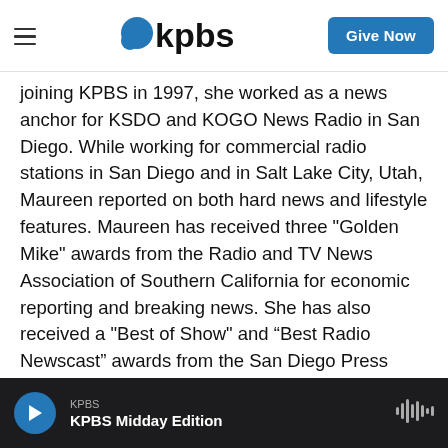KPBS | Give Now
joining KPBS in 1997, she worked as a news anchor for KSDO and KOGO News Radio in San Diego. While working for commercial radio stations in San Diego and in Salt Lake City, Utah, Maureen reported on both hard news and lifestyle features. Maureen has received three "Golden Mike" awards from the Radio and TV News Association of Southern California for economic reporting and breaking news. She has also received a "Best of Show" and “Best Radio Newscast” awards from the San Diego Press Club and the "Flo" Award from Public Radio Program Directors Association for Best Public Radio
KPBS | KPBS Midday Edition